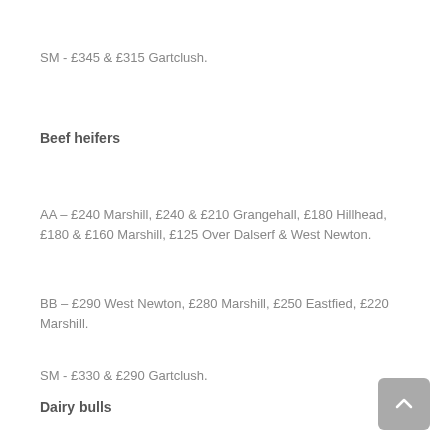SM - £345 & £315 Gartclush.
Beef heifers
AA – £240 Marshill, £240 & £210 Grangehall, £180 Hillhead, £180 & £160 Marshill, £125 Over Dalserf & West Newton.
BB – £290 West Newton, £280 Marshill, £250 Eastfied, £220 Marshill.
SM - £330 & £290 Gartclush.
Dairy bulls